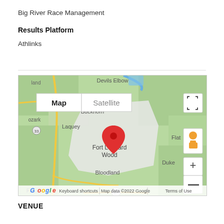Big River Race Management
Results Platform
Athlinks
[Figure (map): Google Map showing Fort Leonard Wood, Missouri area with surrounding locations including Devils Elbow, Buckhorn, Laquey, Bloodland, Duke, Flat. A red location pin marks Fort Leonard Wood. Map and Satellite toggle buttons visible. Map data ©2022 Google.]
VENUE